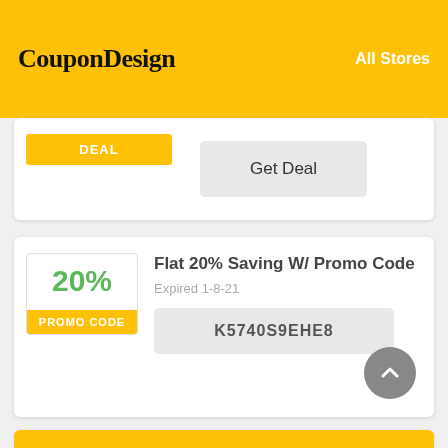CouponDesign   All Stores
DEAL
Get Deal
20%
PROMO CODE
Flat 20% Saving W/ Promo Code
Expired 1-8-21
K5740S9EHE8